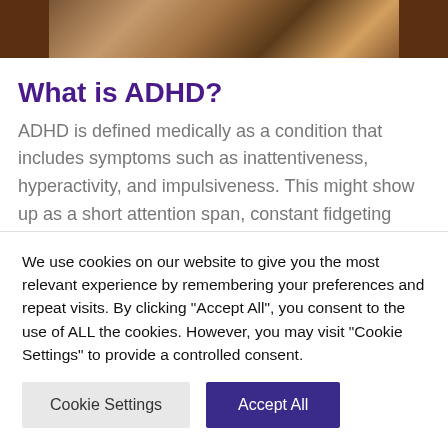[Figure (photo): Partial photo of a person or scene, cropped at top of page, warm brown tones]
What is ADHD?
ADHD is defined medically as a condition that includes symptoms such as inattentiveness, hyperactivity, and impulsiveness. This might show up as a short attention span, constant fidgeting
We use cookies on our website to give you the most relevant experience by remembering your preferences and repeat visits. By clicking "Accept All", you consent to the use of ALL the cookies. However, you may visit "Cookie Settings" to provide a controlled consent.